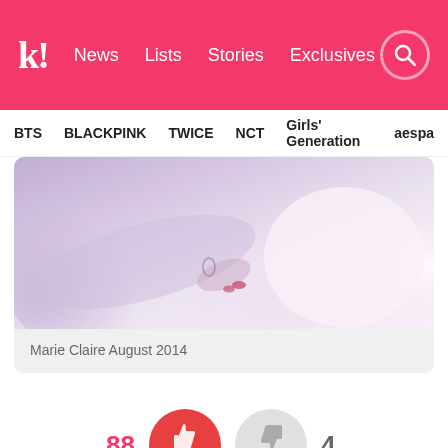k! News Lists Stories Exclusives
BTS BLACKPINK TWICE NCT Girls' Generation aespa
[Figure (photo): Partial photo of a person in white clothing with visible arm/hand, soft pastel tones, magazine style shoot]
Marie Claire August 2014
88 👍추천 👎반대 4